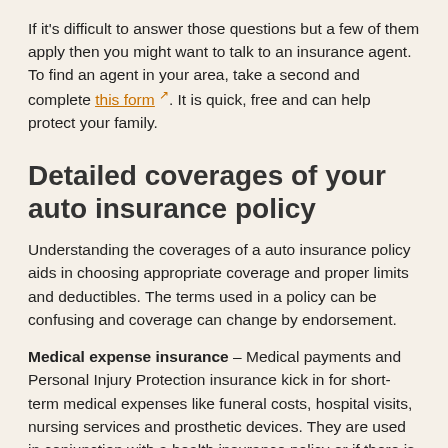If it's difficult to answer those questions but a few of them apply then you might want to talk to an insurance agent. To find an agent in your area, take a second and complete this form [external link]. It is quick, free and can help protect your family.
Detailed coverages of your auto insurance policy
Understanding the coverages of a auto insurance policy aids in choosing appropriate coverage and proper limits and deductibles. The terms used in a policy can be confusing and coverage can change by endorsement.
Medical expense insurance – Medical payments and Personal Injury Protection insurance kick in for short-term medical expenses like funeral costs, hospital visits, nursing services and prosthetic devices. They are used in conjunction with a health insurance policy or if there is no health insurance coverage. They cover not only the driver but also the vehicle occupants and will also cover any family member struck as a